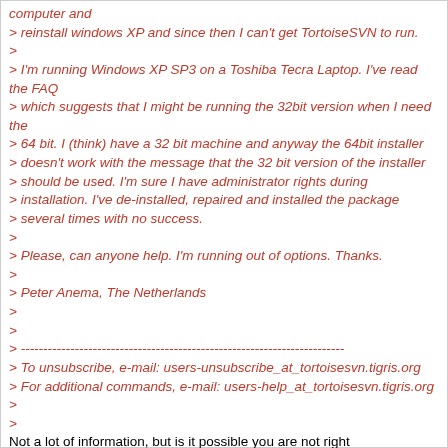> reinstall windows XP and since then I can't get TortoiseSVN to run.
>
> I'm running Windows XP SP3 on a Toshiba Tecra Laptop. I've read the FAQ
> which suggests that I might be running the 32bit version when I need the
> 64 bit. I (think) have a 32 bit machine and anyway the 64bit installer
> doesn't work with the message that the 32 bit version of the installer
> should be used. I'm sure I have administrator rights during
> installation. I've de-installed, repaired and installed the package
> several times with no success.
>
> Please, can anyone help. I'm running out of options. Thanks.
>
> Peter Anema, The Netherlands
>
>
> ------------------------------------------------------------------------
> To unsubscribe, e-mail: users-unsubscribe_at_tortoisesvn.tigris.org
> For additional commands, e-mail: users-help_at_tortoisesvn.tigris.org
>
>
Not a lot of information, but is it possible you are not right